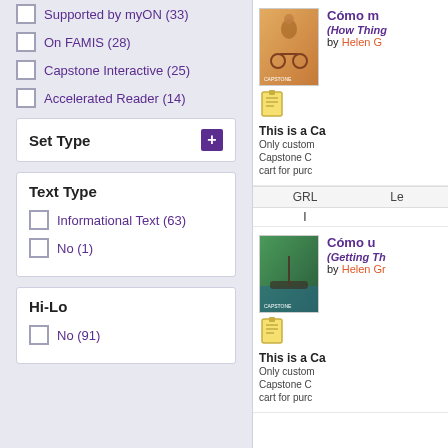Supported by myON (33)
On FAMIS (28)
Capstone Interactive (25)
Accelerated Reader (14)
Set Type
Text Type
Informational Text (63)
No (1)
Hi-Lo
No (91)
[Figure (illustration): Book cover for Cómo m... showing bicycle rider, orange/tan tones]
Cómo m...
(How Thing...
by Helen G...
This is a Ca... Only custom... Capstone C... cart for purc...
| GRL | Le... |
| --- | --- |
| I |  |
[Figure (illustration): Book cover for Cómo u... showing gondola in Venice, green tones]
Cómo u...
(Getting Th...
by Helen Gr...
This is a Ca... Only custom... Capstone C... cart for purc...